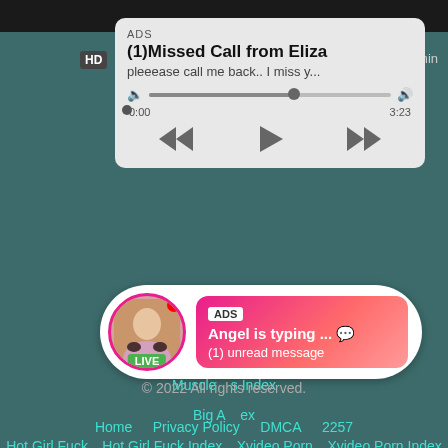[Figure (screenshot): A fake phone notification / media player ad showing a missed call from Eliza with a green phone icon, audio progress bar, playback controls, time 0:00 to 3:23, and an HD badge. Below is a live chat ad bubble with an avatar, LIVE badge, ADS label, 'Angel is typing ... (1) unread message'.]
Muscle
s Index
Big A
ex
Hot Girl Fuck
Hot Girl Fuck Index
Xvideo Porn
Xvideo Porn Index
Big Cocks
Big Cocks Index
Lesbians Kissing
Lesbians Kissing Index
Free Latina Porno
Free Latina Porno Index
© 2022 All rights reserved.
Home   Privacy Policy   DMCA   2257